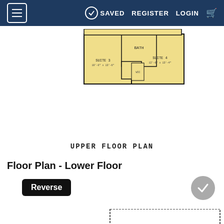≡  SAVED  REGISTER  LOGIN  🛒
[Figure (schematic): Upper floor plan architectural drawing showing Suite 3, Bath, WC, Suite 4 rooms in yellow/tan fill with black outlines and room labels]
UPPER FLOOR PLAN
Floor Plan - Lower Floor
Reverse
[Figure (schematic): Lower floor plan architectural drawing showing Exercise Rm, Sauna, Bath, Rec Rm, Crawl Space, Storage, ADU, Cov'd Patio rooms with yellow/tan fill and black outlines, with 'line of wall above' annotations]